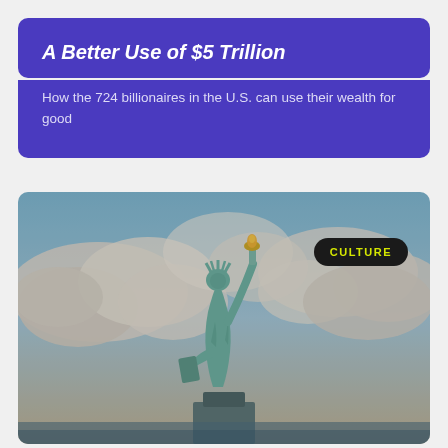A Better Use of $5 Trillion
How the 724 billionaires in the U.S. can use their wealth for good
[Figure (photo): Photograph of the Statue of Liberty against a blue sky with clouds, with a 'CULTURE' badge in the top right corner]